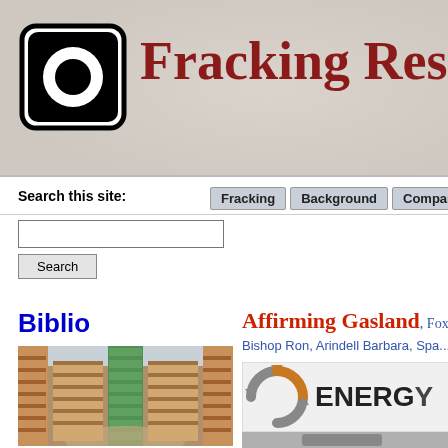[Figure (screenshot): Website header banner for Fracking Resources with circular O logo on left and red serif title text 'Fracking Resour...' on right, on a textured grey/beige background]
Fracking Resour...
Search this site:
Fracking | Background | Companies
Search
Biblio
[Figure (photo): Interior of a large library with tall bookshelves stretching into the distance, green structural columns, bird's eye view perspective]
Affirming Gasland, Fox, ...
Bishop Ron, Arindell Barbara, Spa...
[Figure (logo): Energy company logo with circular arrows icon (silver and orange/gold) and the text ENERG... in bold black]
[Figure (photo): Bottom right image, partially visible, appears to show a dark animal or object on grey background]